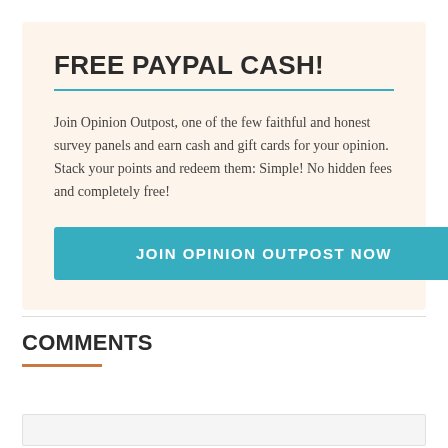FREE PAYPAL CASH!
Join Opinion Outpost, one of the few faithful and honest survey panels and earn cash and gift cards for your opinion. Stack your points and redeem them: Simple! No hidden fees and completely free!
JOIN OPINION OUTPOST NOW
COMMENTS